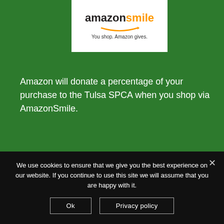[Figure (logo): Amazon Smile logo — 'amazonsmile' wordmark with orange smile arrow underneath, tagline 'You shop. Amazon gives.' on white background]
Amazon will donate a percentage of your purchase to the Tulsa SPCA when you shop via AmazonSmile.
[Figure (logo): PetSmart Charities logo — heart-shaped white background with 'PETSMART' in red/blue and 'Charities' in large red text]
We use cookies to ensure that we give you the best experience on our website. If you continue to use this site we will assume that you are happy with it.